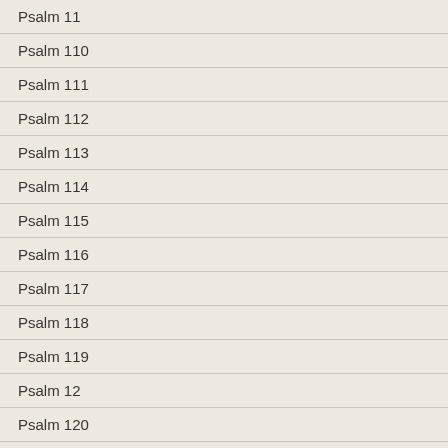Psalm 11
Psalm 110
Psalm 111
Psalm 112
Psalm 113
Psalm 114
Psalm 115
Psalm 116
Psalm 117
Psalm 118
Psalm 119
Psalm 12
Psalm 120